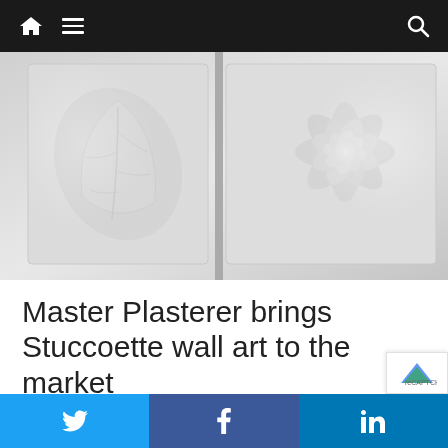Navigation bar with home, menu, and search icons
[Figure (photo): Close-up photo of white plaster wall art panels showing sculpted leaf and rose flower designs in relief on a light grey background]
Master Plasterer brings Stuccoette wall art to the market
October 17, 2017  3580 Views
Paul Griffin, one of
Twitter share button, Facebook share button, LinkedIn share button